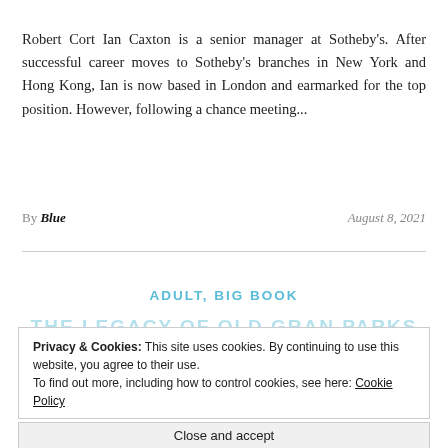Robert Cort Ian Caxton is a senior manager at Sotheby's. After successful career moves to Sotheby's branches in New York and Hong Kong, Ian is now based in London and earmarked for the top position. However, following a chance meeting...
By Blue   August 8, 2021
ADULT, BIG BOOK
THE LEGACY OF OLD GRAN PARKS
Privacy & Cookies: This site uses cookies. By continuing to use this website, you agree to their use. To find out more, including how to control cookies, see here: Cookie Policy
Close and accept
0 Comments
Isobel Blackthorn Set in Australia's rugged southern wilderness, The Legacy of Old Gran Parks is a